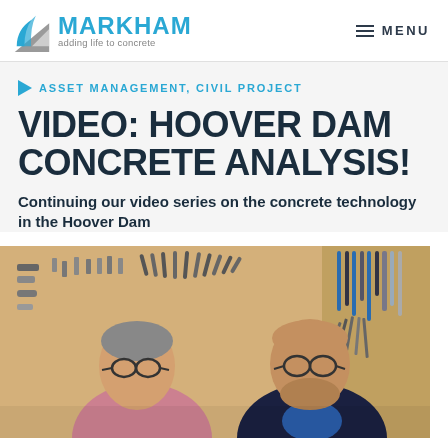MARKHAM — adding life to concrete | MENU
ASSET MANAGEMENT, CIVIL PROJECT
VIDEO: HOOVER DAM CONCRETE ANALYSIS!
Continuing our video series on the concrete technology in the Hoover Dam
[Figure (photo): Two men standing in front of a pegboard wall covered with tools and wrenches; the man on the left is older with glasses and a pink shirt, the man on the right is younger with glasses and a blue shirt/dark jacket.]